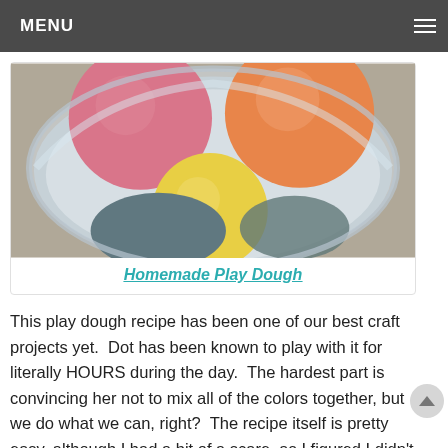MENU
[Figure (photo): Colorful balls of homemade play dough (pink, orange, yellow, teal/grey) sitting in a clear plastic container, viewed from above.]
Homemade Play Dough
This play dough recipe has been one of our best craft projects yet.  Dot has been known to play with it for literally HOURS during the day.  The hardest part is convincing her not to mix all of the colors together, but we do what we can, right?  The recipe itself is pretty easy, although I had a bit of a scare, as I figured I didn't have cream of tartar around the house.  It turns out my husband had purchased some for something he made back at Thanksgiving, so we were able to add it in.  Apparently, it gives the play dough better elasticity.  (By